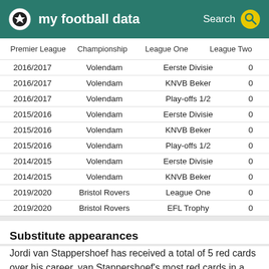my football data
| Premier League | Championship | League One | League Two |
| --- | --- | --- | --- |
| 2016/2017 | Volendam | Eerste Divisie | 0 |
| 2016/2017 | Volendam | KNVB Beker | 0 |
| 2016/2017 | Volendam | Play-offs 1/2 | 0 |
| 2015/2016 | Volendam | Eerste Divisie | 0 |
| 2015/2016 | Volendam | KNVB Beker | 0 |
| 2015/2016 | Volendam | Play-offs 1/2 | 0 |
| 2014/2015 | Volendam | Eerste Divisie | 0 |
| 2014/2015 | Volendam | KNVB Beker | 0 |
| 2019/2020 | Bristol Rovers | League One | 0 |
| 2019/2020 | Bristol Rovers | EFL Trophy | 0 |
Substitute appearances
Jordi van Stappershoef has received a total of 5 red cards over his career. van Stappershoef's most red cards in a season was 1 in 2020/2021